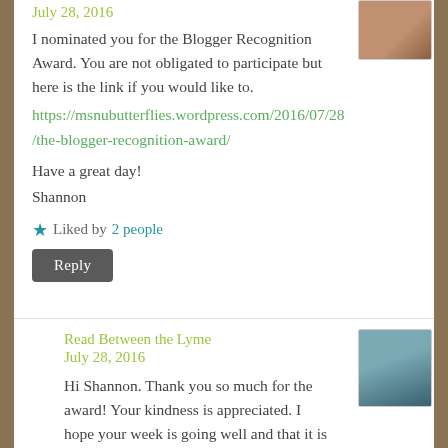July 28, 2016
I nominated you for the Blogger Recognition Award. You are not obligated to participate but here is the link if you would like to.
https://msnubutterflies.wordpress.com/2016/07/28/the-blogger-recognition-award/
Have a great day!
Shannon
Liked by 2 people
Reply
Read Between the Lyme
July 28, 2016
Hi Shannon. Thank you so much for the award! Your kindness is appreciated. I hope your week is going well and that it is as pain-free